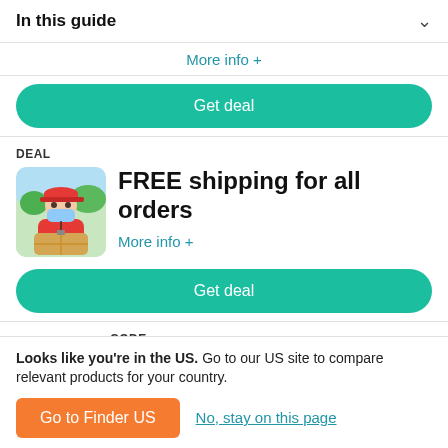In this guide
More info +
Get deal
DEAL
[Figure (photo): Delivery person in red uniform and red cap wearing a face mask, holding a cardboard box, outdoors with greenery in background]
FREE shipping for all orders
More info +
Get deal
CODE
Looks like you're in the US. Go to our US site to compare relevant products for your country.
Go to Finder US
No, stay on this page